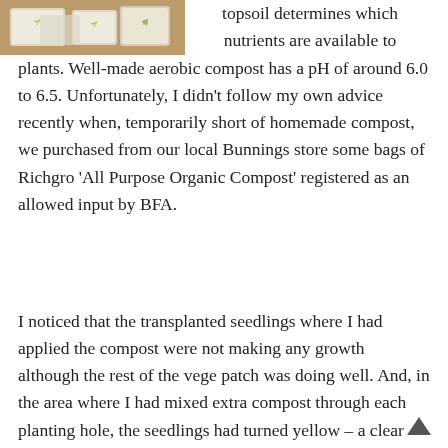[Figure (photo): Photo of seed packets or plant-related items on a brown/wooden surface]
topsoil determines which nutrients are available to plants. Well-made aerobic compost has a pH of around 6.0 to 6.5. Unfortunately, I didn’t follow my own advice recently when, temporarily short of homemade compost, we purchased from our local Bunnings store some bags of Richgro ‘All Purpose Organic Compost’ registered as an allowed input by BFA.
I noticed that the transplanted seedlings where I had applied the compost were not making any growth although the rest of the vege patch was doing well. And, in the area where I had mixed extra compost through each planting hole, the seedlings had turned yellow – a clear sign that the soil pH was too high for